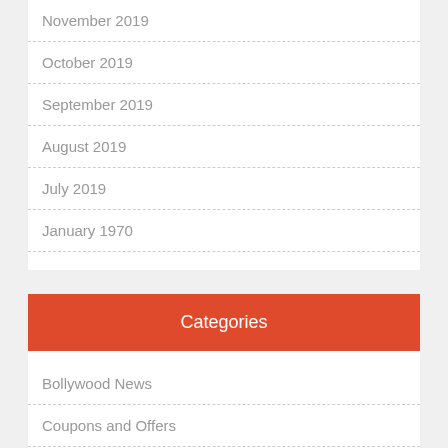November 2019
October 2019
September 2019
August 2019
July 2019
January 1970
Categories
Bollywood News
Coupons and Offers
Gadgets And Technology
Gaming